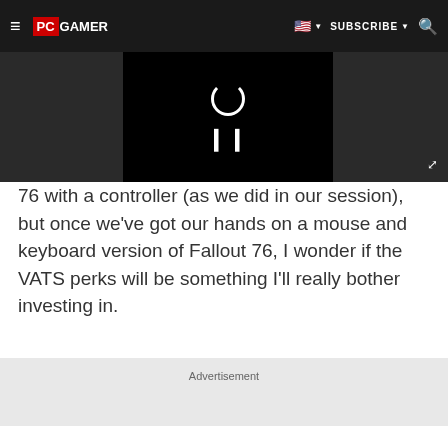PC GAMER | SUBSCRIBE
[Figure (screenshot): Video player with black background, loading spinner, pause icon, and expand button]
76 with a controller (as we did in our session), but once we've got our hands on a mouse and keyboard version of Fallout 76, I wonder if the VATS perks will be something I'll really bother investing in.
Advertisement